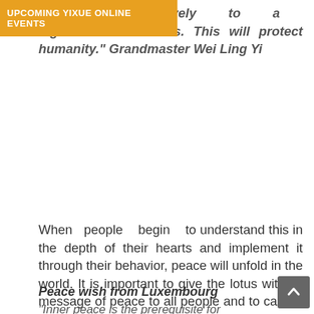UPCOMING YIXUE ONLINE EVENTS
together and collectively to a higher consciousness. This will protect humanity." Grandmaster Wei Ling Yi
When people begin to understand this in the depth of their hearts and implement it through their behavior, peace will unfold in the world. It is important to give the lotus with its message of peace to all people and to carry it across the sea to all continents.
Peace wish from Luxembourg
"Inner peace is the prerequisite for